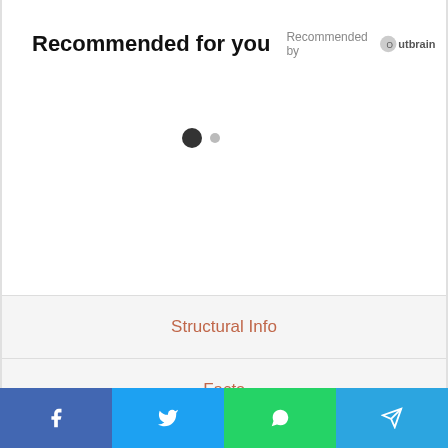Recommended for you
Recommended by Outbrain
[Figure (other): Two navigation dots: one large filled black dot and one smaller grey dot]
Structural Info
Facts
Filmography
| Net Worth | $6 Million |
Facebook | Twitter | WhatsApp | Telegram social share bar